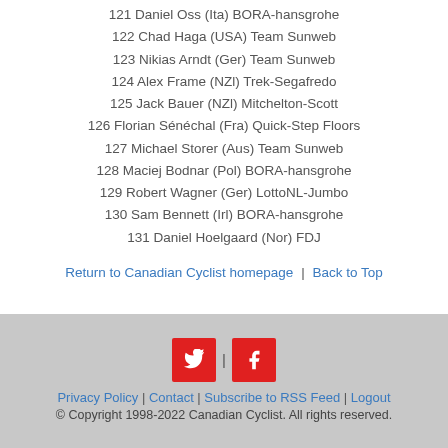121 Daniel Oss (Ita) BORA-hansgrohe
122 Chad Haga (USA) Team Sunweb
123 Nikias Arndt (Ger) Team Sunweb
124 Alex Frame (NZl) Trek-Segafredo
125 Jack Bauer (NZl) Mitchelton-Scott
126 Florian Sénéchal (Fra) Quick-Step Floors
127 Michael Storer (Aus) Team Sunweb
128 Maciej Bodnar (Pol) BORA-hansgrohe
129 Robert Wagner (Ger) LottoNL-Jumbo
130 Sam Bennett (Irl) BORA-hansgrohe
131 Daniel Hoelgaard (Nor) FDJ
Return to Canadian Cyclist homepage | Back to Top
Privacy Policy | Contact | Subscribe to RSS Feed | Logout
© Copyright 1998-2022 Canadian Cyclist. All rights reserved.